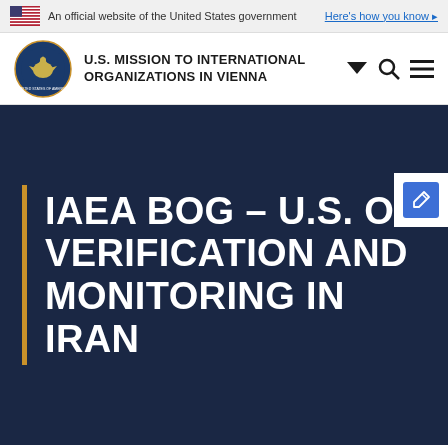An official website of the United States government   Here's how you know
U.S. MISSION TO INTERNATIONAL ORGANIZATIONS IN VIENNA
IAEA BOG – U.S. ON VERIFICATION AND MONITORING IN IRAN